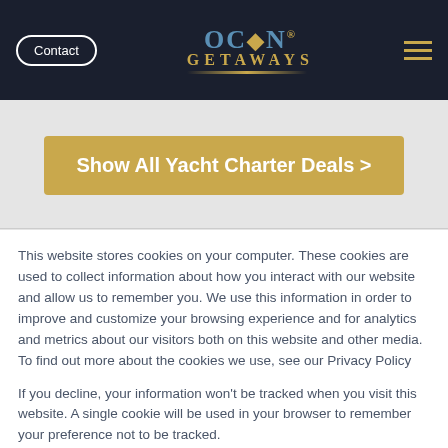Contact | OCEAN GETAWAYS | ≡
Show All Yacht Charter Deals >
This website stores cookies on your computer. These cookies are used to collect information about how you interact with our website and allow us to remember you. We use this information in order to improve and customize your browsing experience and for analytics and metrics about our visitors both on this website and other media. To find out more about the cookies we use, see our Privacy Policy
If you decline, your information won't be tracked when you visit this website. A single cookie will be used in your browser to remember your preference not to be tracked.
Accept
Decline